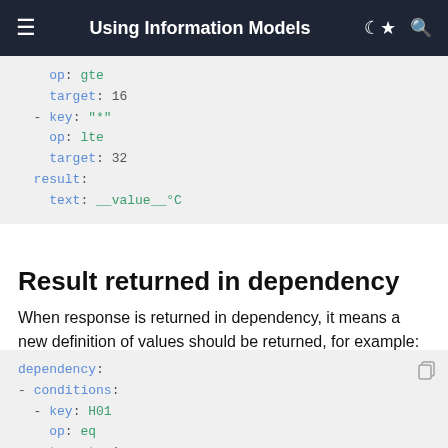Using Information Models
op: gte
    target: 16
  - key: "*"
    op: lte
    target: 32
  result:
    text: __value__°C
Result returned in dependency
When response is returned in dependency, it means a new definition of values should be returned, for example:
dependency:
- conditions:
  - key: H01
    op: eq
    target: 1